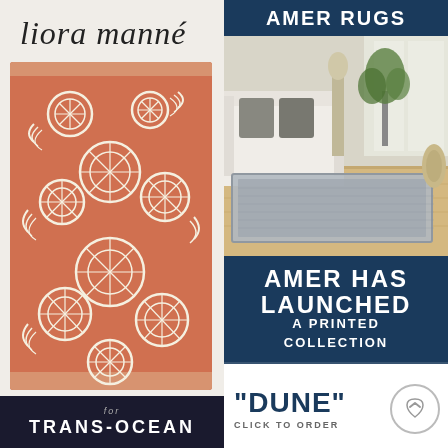[Figure (photo): Liora Manne cursive handwritten logo on light background]
[Figure (photo): Orange rug with white sand dollar and seashell pattern displayed vertically on light wood floor]
[Figure (logo): Liora Manne for Trans-Ocean footer logo on dark navy background]
AMER RUGS
[Figure (photo): Grey textured rug with border in a living room setting with white sofa, plant, and wood floor. Amer Rugs product photo.]
AMER HAS LAUNCHED
A PRINTED COLLECTION
"DUNE"
CLICK TO ORDER